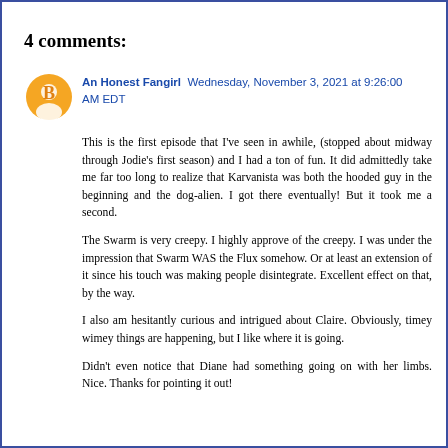4 comments:
An Honest Fangirl  Wednesday, November 3, 2021 at 9:26:00 AM EDT
This is the first episode that I've seen in awhile, (stopped about midway through Jodie's first season) and I had a ton of fun. It did admittedly take me far too long to realize that Karvanista was both the hooded guy in the beginning and the dog-alien. I got there eventually! But it took me a second.
The Swarm is very creepy. I highly approve of the creepy. I was under the impression that Swarm WAS the Flux somehow. Or at least an extension of it since his touch was making people disintegrate. Excellent effect on that, by the way.
I also am hesitantly curious and intrigued about Claire. Obviously, timey wimey things are happening, but I like where it is going.
Didn't even notice that Diane had something going on with her limbs. Nice. Thanks for pointing it out!